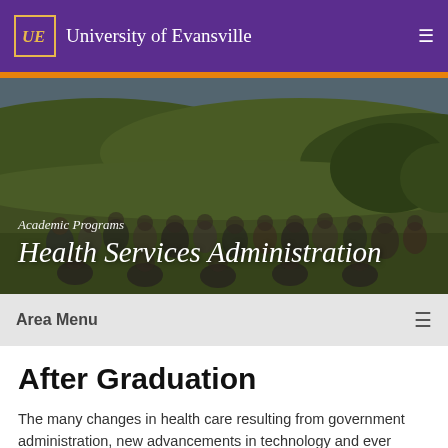University of Evansville
[Figure (photo): Group photo of students outdoors in a hilly green landscape, overlaid with text 'Academic Programs' and 'Health Services Administration']
Academic Programs
Health Services Administration
Area Menu
After Graduation
The many changes in health care resulting from government administration, new advancements in technology and ever fluctuating populations have created a need for managers who can lead the transition for health care management for the